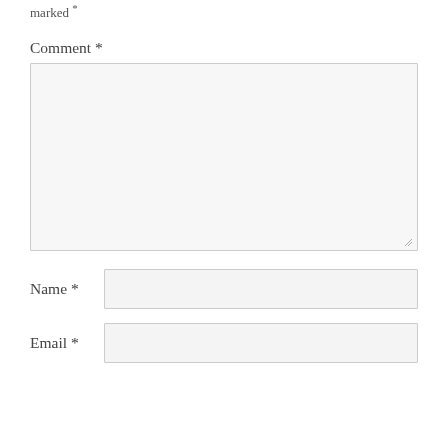marked *
Comment *
[Figure (other): Large empty textarea/comment input box with resize handle at bottom right]
Name *
[Figure (other): Name text input field]
Email *
[Figure (other): Email text input field]